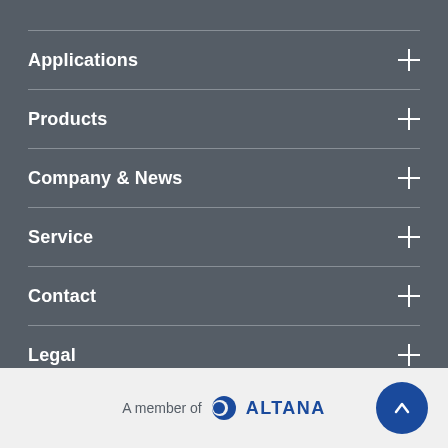Applications
Products
Company & News
Service
Contact
Legal
Social media
A member of ALTANA